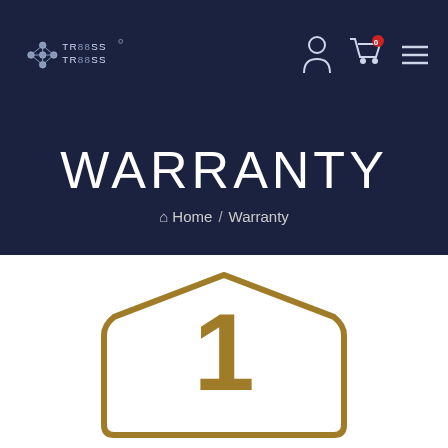TRBSS TRBSS logo and navigation icons
WARRANTY
Home / Warranty
[Figure (logo): 1 Year Warranty badge/shield graphic in gold/dark yellow color with large numeral '1', text 'YEAR' and 'WARRANTY' below]